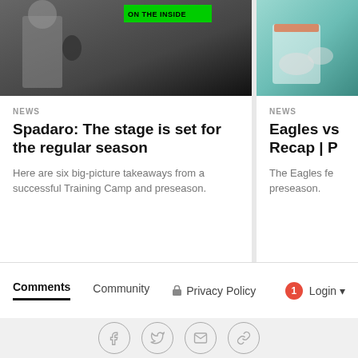[Figure (photo): Photo of a person in a gray jacket holding a microphone, with 'ON THE INSIDE' green badge overlay, partial crop]
NEWS
Spadaro: The stage is set for the regular season
Here are six big-picture takeaways from a successful Training Camp and preseason.
[Figure (photo): Partial photo of Eagles player in teal/white uniform with gloves, cropped on right side]
NEWS
Eagles vs Recap | P
The Eagles fe preseason.
Comments  Community  Privacy Policy  Login
[Figure (infographic): Social share icons row: Facebook, Twitter, Email, Link]